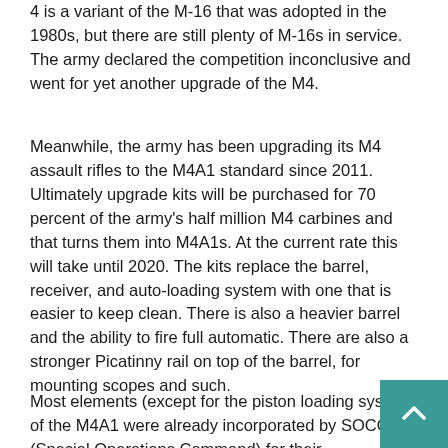4 is a variant of the M-16 that was adopted in the 1980s, but there are still plenty of M-16s in service. The army declared the competition inconclusive and went for yet another upgrade of the M4.
Meanwhile, the army has been upgrading its M4 assault rifles to the M4A1 standard since 2011. Ultimately upgrade kits will be purchased for 70 percent of the army's half million M4 carbines and that turns them into M4A1s. At the current rate this will take until 2020. The kits replace the barrel, receiver, and auto-loading system with one that is easier to keep clean. There is also a heavier barrel and the ability to fire full automatic. There are also a stronger Picatinny rail on top of the barrel, for mounting scopes and such.
Most elements (except for the piston loading system) of the M4A1 were already incorporated by SOCOM (Special Operations Command) for their